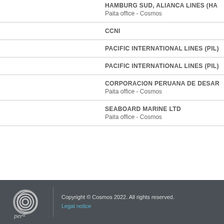HAMBURG SUD, ALIANCA LINES (HA
Paita office - Cosmos
CCNI
PACIFIC INTERNATIONAL LINES (PIL)
PACIFIC INTERNATIONAL LINES (PIL)
CORPORACION PERUANA DE DESAR
Paita office - Cosmos
SEABOARD MARINE LTD
Paita office - Cosmos
Copyright © Cosmos 2022. All rights reserved.
Legal notice